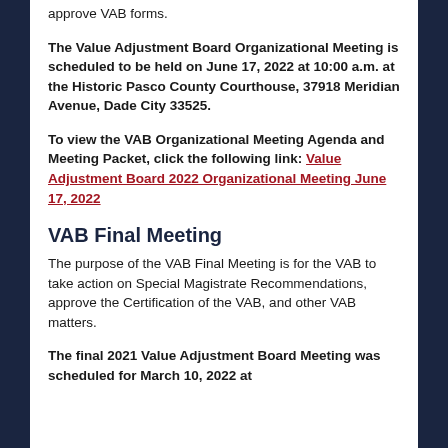approve VAB forms.
The Value Adjustment Board Organizational Meeting is scheduled to be held on June 17, 2022 at 10:00 a.m. at the Historic Pasco County Courthouse, 37918 Meridian Avenue, Dade City 33525.
To view the VAB Organizational Meeting Agenda and Meeting Packet, click the following link: Value Adjustment Board 2022 Organizational Meeting June 17, 2022
VAB Final Meeting
The purpose of the VAB Final Meeting is for the VAB to take action on Special Magistrate Recommendations, approve the Certification of the VAB, and other VAB matters.
The final 2021 Value Adjustment Board Meeting was scheduled for March 10, 2022 at